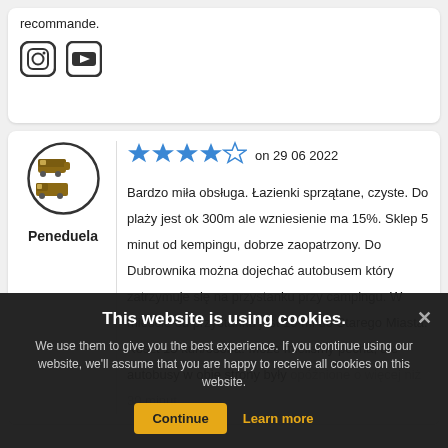recommande.
[Figure (illustration): Social media icons: Instagram and YouTube]
[Figure (illustration): Camper/caravan avatar icon in circle for user Peneduela]
Peneduela
[Figure (illustration): 4 out of 5 stars rating]
on 29 06 2022
Bardzo miła obsługa. Łazienki sprzątane, czyste. Do plaży jest ok 300m ale wzniesienie ma 15%. Sklep 5 minut od kempingu, dobrze zaopatrzony. Do Dubrownika można dojechać autobusem który zatrzymuje się na przystanku przy campingu. W mieście od przystanku jest 10 mi do Starego Miasta. Koszt 15 kun/osoba. Może mieliśmy pecha, ale autobusy w obie strony były opóźnione o więcej niż 30 minut.
This website is using cookies.
We use them to give you the best experience. If you continue using our website, we'll assume that you are happy to receive all cookies on this website.
Continue
Learn more
Pasamos una semana en el camping y la verdad que